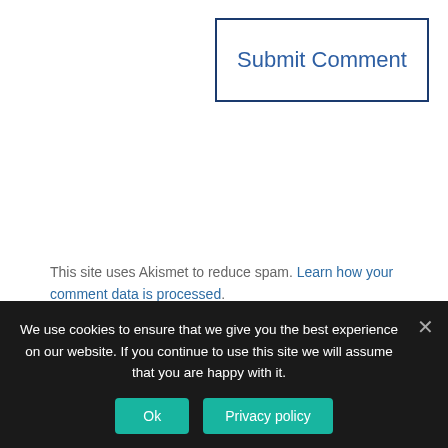[Figure (other): Submit Comment button — a rectangular button with dark navy blue border and blue text reading 'Submit Comment' on white background]
This site uses Akismet to reduce spam. Learn how your comment data is processed.
[Figure (photo): Dark blue/navy image at bottom of page content area]
We use cookies to ensure that we give you the best experience on our website. If you continue to use this site we will assume that you are happy with it.
Ok   Privacy policy